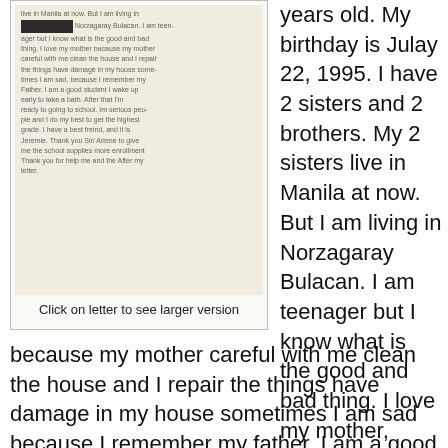[Figure (photo): Scanned handwritten letter from a student, partially redacted with a black box over the name.]
Click on letter to see larger version
years old. My birthday is Julay 22, 1995. I have 2 sisters and 2 brothers. My 2 sisters live in Manila at now. But I am living in Norzagaray Bulacan. I am teenager but I know what is the good and bad thing. I love my mother, because my mother careful with me clean the house and I repair the things have damage in my house sometimes I am sad because I remember my father. I am a good student I wake up early to take a bath. After that I'm ready to going to school. Im serious people and I do my best to get the highest grade. I have a best freind, and it is Jeremie. Thank